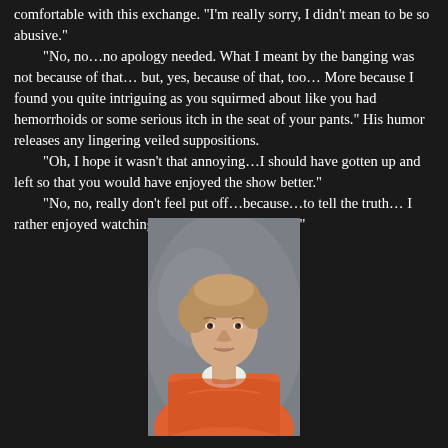comfortable with this exchange. “I’m really sorry, I didn’t mean to be so abusive.” “No, no…no apology needed. What I meant by the banging was not because of that… but, yes, because of that, too… More because I found you quite intriguing as you squirmed about like you had hemorrhoids or some serious itch in the seat of your pants.” His humor releases any lingering veiled suppositions. “Oh, I hope it wasn’t that annoying…I should have gotten up and left so that you would have enjoyed the show better.” “No, no, really don’t feel put off…because…to tell the truth… I rather enjoyed watching you watching the singer.”
[Figure (photo): Portrait photo of a middle-aged woman with short blonde-brown hair, wearing an orange/red scarf or wrap over a white top, photographed against a gray studio background.]